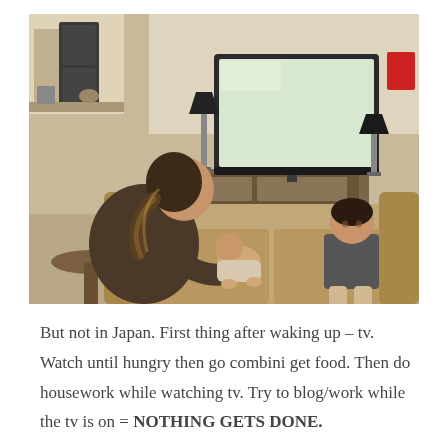[Figure (photo): A woman sitting on a couch holding a baby, with another toddler sitting beside her, all facing a television in what appears to be a hotel room or apartment. There is a small round table to the left and a lamp on the right side. The TV is on and showing a bright screen.]
But not in Japan. First thing after waking up – tv. Watch until hungry then go combini get food. Then do housework while watching tv. Try to blog/work while the tv is on = NOTHING GETS DONE.